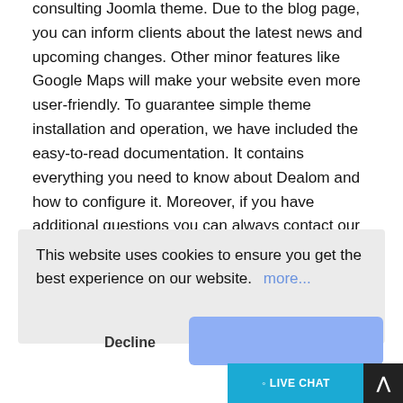consulting Joomla theme. Due to the blog page, you can inform clients about the latest news and upcoming changes. Other minor features like Google Maps will make your website even more user-friendly. To guarantee simple theme installation and operation, we have included the easy-to-read documentation. It contains everything you need to know about Dealom and how to configure it. Moreover, if you have additional questions you can always contact our support available 24/7. Our professional team will be happy to assist you in solving possible issues you may have with our products.
This website uses cookies to ensure you get the best experience on our website. more...
Тип:  Joomla Templates
Author:  RockThemes
Downloads:  3
Decline
LIVE CHAT